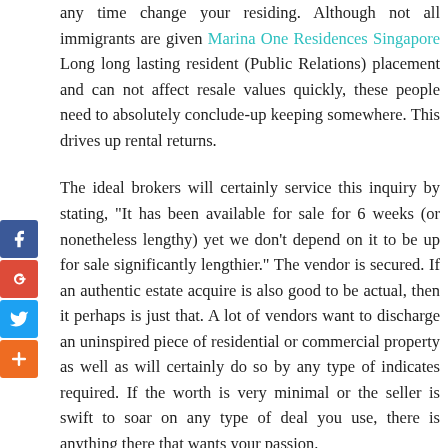any time change your residing. Although not all immigrants are given Marina One Residences Singapore Long long lasting resident (Public Relations) placement and can not affect resale values quickly, these people need to absolutely conclude-up keeping somewhere. This drives up rental returns.

The ideal brokers will certainly service this inquiry by stating, "It has been available for sale for 6 weeks (or nonetheless lengthy) yet we don't depend on it to be up for sale significantly lengthier." The vendor is secured. If an authentic estate acquire is also good to be actual, then it perhaps is just that. A lot of vendors want to discharge an uninspired piece of residential or commercial property as well as will certainly do so by any type of indicates required. If the worth is very minimal or the seller is swift to soar on any type of deal you use, there is anything there that wants your passion.